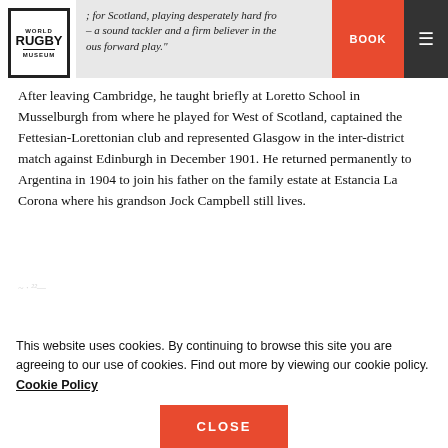World Rugby Museum
for Scotland, playing desperately hard from - a sound tackler and a firm believer in the ous forward play."
After leaving Cambridge, he taught briefly at Loretto School in Musselburgh from where he played for West of Scotland, captained the Fettesian-Lorettonian club and represented Glasgow in the inter-district match against Edinburgh in December 1901. He returned permanently to Argentina in 1904 to join his father on the family estate at Estancia La Corona where his grandson Jock Campbell still lives.
This website uses cookies. By continuing to browse this site you are agreeing to our use of cookies. Find out more by viewing our cookie policy. Cookie Policy
CLOSE